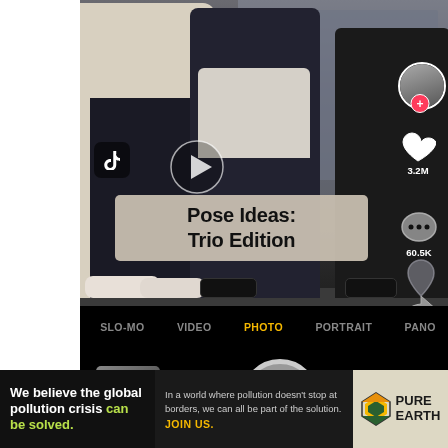[Figure (screenshot): TikTok video screenshot showing three people wearing black face masks standing on a street. Overlay text reads 'Pose Ideas: Trio Edition' with a play button, TikTok logo, and right-side interaction icons showing 3.2M and 60.5K counts. Below the video is a camera interface with SLO-MO, VIDEO, PHOTO (selected in yellow), PORTRAIT, PANO modes and a shutter button, with 83.9K count shown.]
We believe the global pollution crisis can be solved.
In a world where pollution doesn't stop at borders, we can all be part of the solution. JOIN US.
[Figure (logo): Pure Earth logo with diamond/chevron symbol and text PURE EARTH]